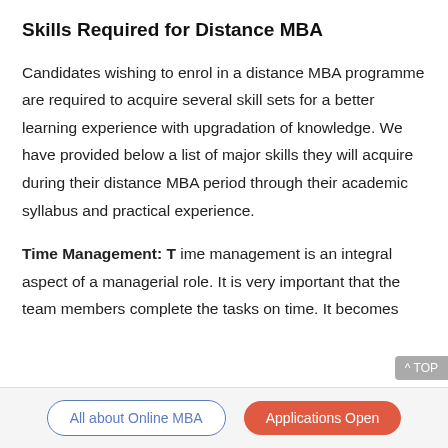Skills Required for Distance MBA
Candidates wishing to enrol in a distance MBA programme are required to acquire several skill sets for a better learning experience with upgradation of knowledge. We have provided below a list of major skills they will acquire during their distance MBA period through their academic syllabus and practical experience.
Time Management: T ime management is an integral aspect of a managerial role. It is very important that the team members complete the tasks on time. It becomes